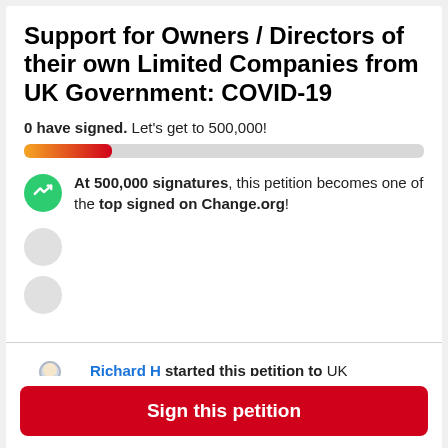Support for Owners / Directors of their own Limited Companies from UK Government: COVID-19
0 have signed. Let's get to 500,000!
[Figure (other): Progress bar showing small amount filled with orange-to-red gradient on grey background]
At 500,000 signatures, this petition becomes one of the top signed on Change.org!
Richard H started this petition to UK Government and 1 other
Sign this petition